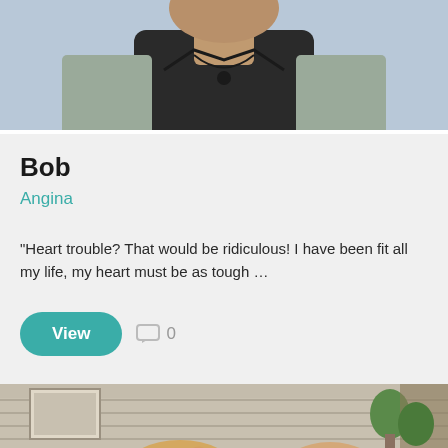[Figure (photo): Cropped photo of a man named Bob, wearing a dark vest with a pendant necklace, against a light blue background]
Bob
Angina
“Heart trouble? That would be ridiculous! I have been fit all my life, my heart must be as tough …
View   0
[Figure (photo): Cropped photo showing the top of a blonde woman's head and another person, in front of a brick wall with framed artwork and plants]